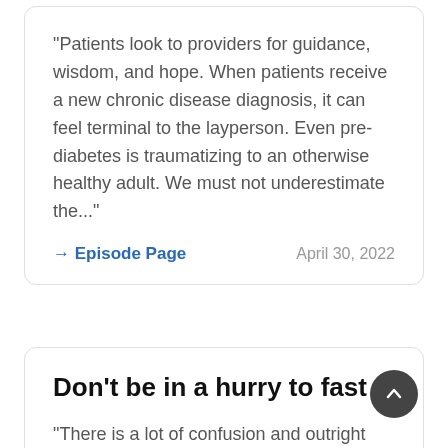"Patients look to providers for guidance, wisdom, and hope. When patients receive a new chronic disease diagnosis, it can feel terminal to the layperson. Even pre-diabetes is traumatizing to an otherwise healthy adult. We must not underestimate the..."
→ Episode Page
April 30, 2022
Don't be in a hurry to fast
"There is a lot of confusion and outright